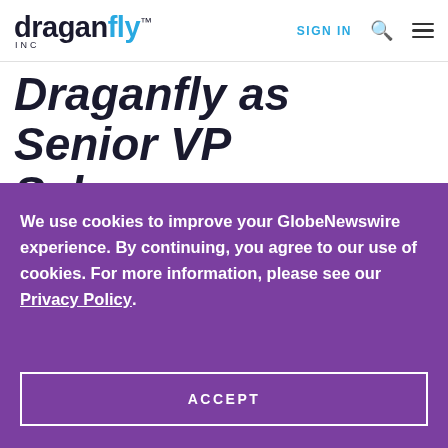draganfly INC — SIGN IN
Draganfly as Senior VP Sales
We use cookies to improve your GlobeNewswire experience. By continuing, you agree to our use of cookies. For more information, please see our Privacy Policy.
ACCEPT